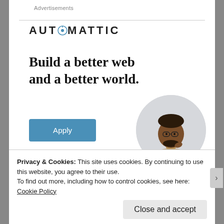Advertisements
[Figure (logo): Automattic logo with compass-like letter O in the name]
Build a better web and a better world.
[Figure (photo): Circular portrait photo of a Black man wearing glasses, looking upward thoughtfully, hand on chin, seated at a desk]
Apply (button)
REPORT THIS AD
Share this:
Privacy & Cookies: This site uses cookies. By continuing to use this website, you agree to their use.
To find out more, including how to control cookies, see here: Cookie Policy
Close and accept